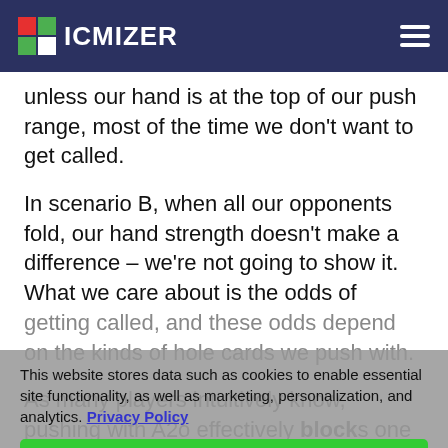ICMIZER
unless our hand is at the top of our push range, most of the time we don’t want to get called.
In scenario B, when all our opponents fold, our hand strength doesn’t make a difference – we’re not going to show it. What we care about is the odds of getting called, and these odds depend on the kinds of hole cards we push with.
As many players intuitively know, pushing with A2o effectively blocks one of the four aces for our
This website stores data such as cookies to enable essential site functionality, as well as marketing, personalization, and analytics. Privacy Policy
Accept
Deny